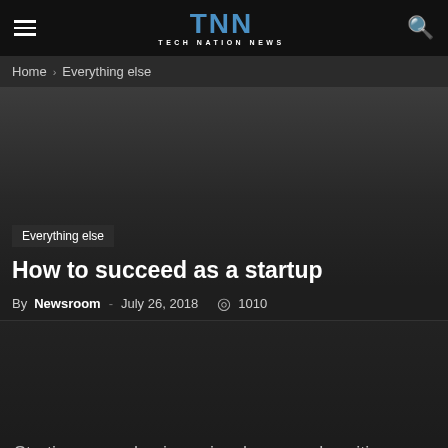TNN TECH NATION NEWS
Home › Everything else
[Figure (photo): Dark hero image background for article]
Everything else
How to succeed as a startup
By Newsroom - July 26, 2018  1010
Starting a new business is a brave and exciting